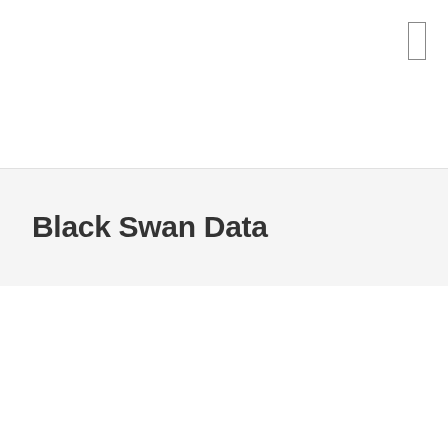[Figure (other): Small rectangular icon/button outline in the upper right corner]
Black Swan Data